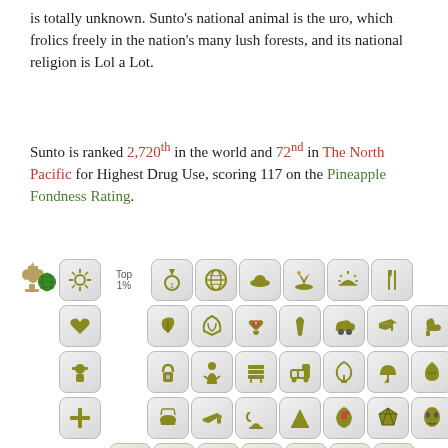is totally unknown. Sunto's national animal is the uro, which frolics freely in the nation's many lush forests, and its national religion is Lol a Lot.
Sunto is ranked 2,720th in the world and 72nd in The North Pacific for Highest Drug Use, scoring 117 on the Pineapple Fondness Rating.
[Figure (infographic): A grid of achievement/category icons with ranking badges showing Top 1%, Top 5%, Top 10% labels. Icons include trophy, globe, medal, various symbols in green and orange/brown colors on rounded square tiles.]